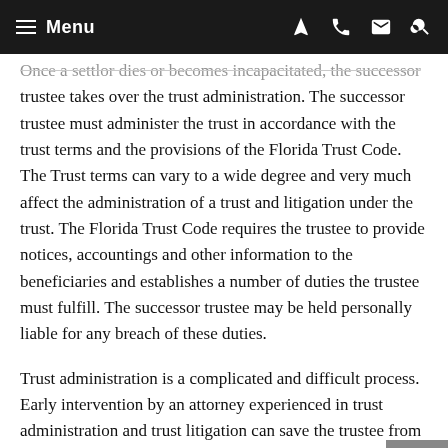Menu
Once a settlor dies or becomes incapacitated, the successor trustee takes over the trust administration. The successor trustee must administer the trust in accordance with the trust terms and the provisions of the Florida Trust Code. The Trust terms can vary to a wide degree and very much affect the administration of a trust and litigation under the trust. The Florida Trust Code requires the trustee to provide notices, accountings and other information to the beneficiaries and establishes a number of duties the trustee must fulfill. The successor trustee may be held personally liable for any breach of these duties.
Trust administration is a complicated and difficult process. Early intervention by an attorney experienced in trust administration and trust litigation can save the trustee from personal liability and avoid conflicts and trust litigation. The